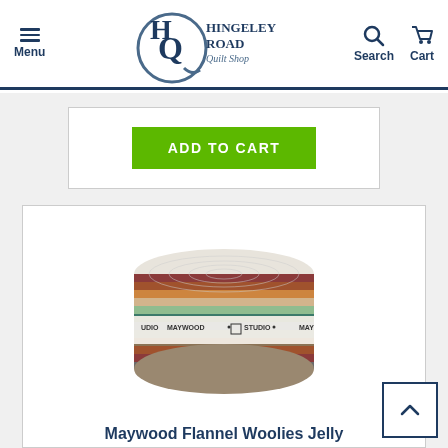Menu | Hingeley Road Quilt Shop | Search | Cart
[Figure (other): Green 'ADD TO CART' button on a white card]
[Figure (photo): Maywood Flannel Woolies Jelly Roll strip roll of colorful fabric strips with a Maywood Studio label band around the middle]
Maywood Flannel Woolies Jelly Roll Strip Mal S...